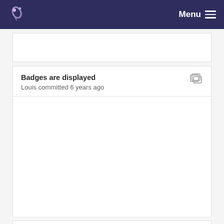Menu
Badges are displayed
Louis committed 6 years ago
Suppression des fins de ligne Windows
Louis committed 6 years ago